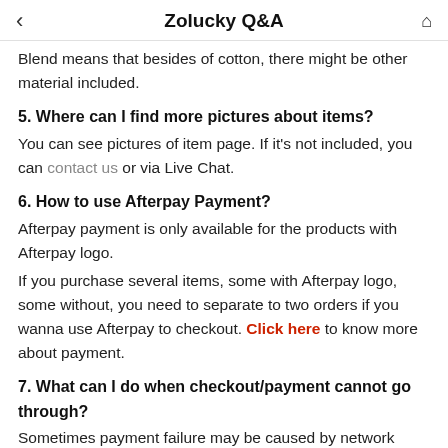Zolucky Q&A
Blend means that besides of cotton, there might be other material included.
5. Where can I find more pictures about items?
You can see pictures of item page. If it's not included, you can contact us or via Live Chat.
6. How to use Afterpay Payment?
Afterpay payment is only available for the products with Afterpay logo.
If you purchase several items, some with Afterpay logo, some without, you need to separate to two orders if you wanna use Afterpay to checkout. Click here to know more about payment.
7. What can I do when checkout/payment cannot go through?
Sometimes payment failure may be caused by network problems, incorrect address, refused transaction, declined by bank or the risk prevention mechanism of your card issuer. We recommend you to try multiple times, use another card to pay, or pay with the PayPal balance.
If above does not work , please tell us what message is shown or